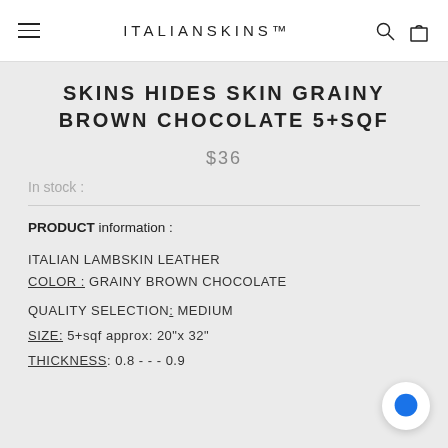ITALIANSKINS™
SKINS HIDES SKIN GRAINY BROWN CHOCOLATE 5+SQF
$36
In stock :
PRODUCT information :
ITALIAN LAMBSKIN LEATHER
COLOR : GRAINY BROWN CHOCOLATE
QUALITY SELECTION: MEDIUM
SIZE: 5+sqf approx: 20"x 32"
THICKNESS: 0.8 - - - 0.9